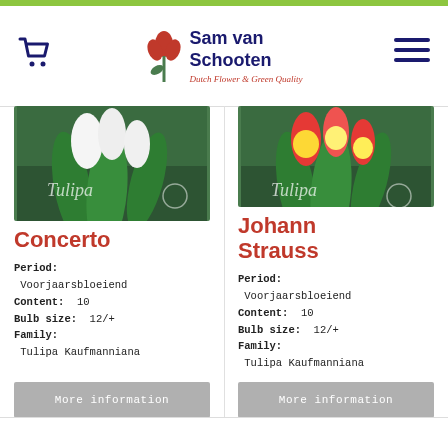[Figure (logo): Sam van Schooten logo with tulip graphic and tagline 'Dutch Flower & Green Quality']
[Figure (photo): Tulipa Concerto flower product image - white tulips on green background]
Concerto
Period: Voorjaarsbloeiend
Content: 10
Bulb size: 12/+
Family: Tulipa Kaufmanniana
[Figure (photo): Tulipa Johann Strauss flower product image - red and yellow tulips on green background]
Johann Strauss
Period: Voorjaarsbloeiend
Content: 10
Bulb size: 12/+
Family: Tulipa Kaufmanniana